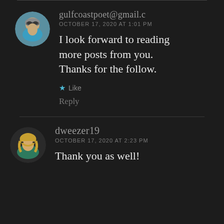gulfcoastpoet@gmail.c
OCTOBER 17, 2020 AT 1:01 PM
I look forward to reading more posts from you. Thanks for the follow.
Like
Reply
dweezer19
OCTOBER 17, 2020 AT 2:23 PM
Thank you as well!